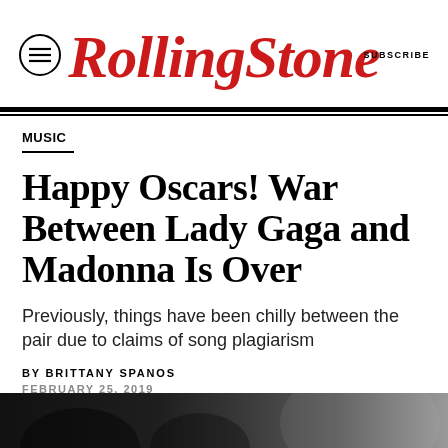Rolling Stone | SUBSCRIBE
MUSIC
Happy Oscars! War Between Lady Gaga and Madonna Is Over
Previously, things have been chilly between the pair due to claims of song plagiarism
BY BRITTANY SPANOS
FEBRUARY 25, 2019
[Figure (photo): Bottom portion of a photo, dark background showing partial image of people]